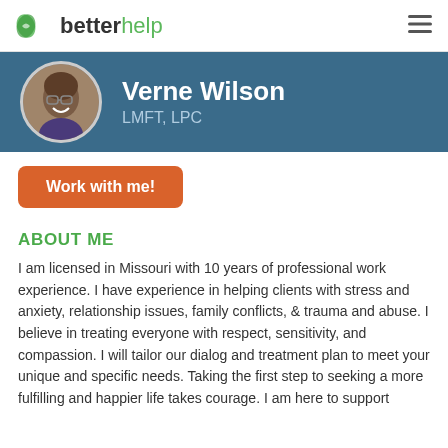betterhelp
[Figure (photo): Profile photo of Verne Wilson, a smiling man with glasses]
Verne Wilson
LMFT, LPC
Work with me!
ABOUT ME
I am licensed in Missouri with 10 years of professional work experience. I have experience in helping clients with stress and anxiety, relationship issues, family conflicts, & trauma and abuse. I believe in treating everyone with respect, sensitivity, and compassion. I will tailor our dialog and treatment plan to meet your unique and specific needs. Taking the first step to seeking a more fulfilling and happier life takes courage. I am here to support